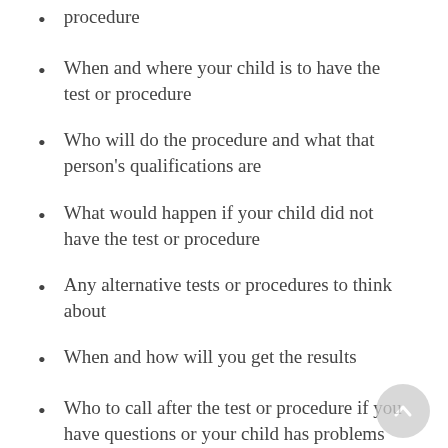procedure
When and where your child is to have the test or procedure
Who will do the procedure and what that person's qualifications are
What would happen if your child did not have the test or procedure
Any alternative tests or procedures to think about
When and how will you get the results
Who to call after the test or procedure if you have questions or your child has problems
How much will you have to pay for the test or